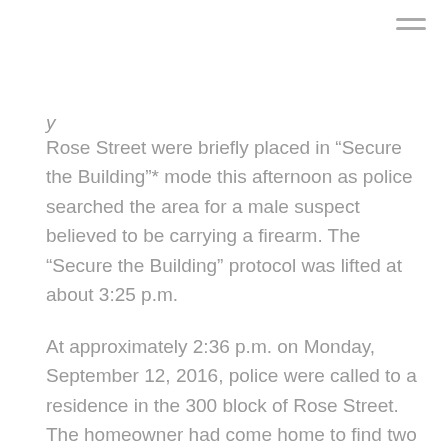Rose Street were briefly placed in “Secure the Building”* mode this afternoon as police searched the area for a male suspect believed to be carrying a firearm. The “Secure the Building” protocol was lifted at about 3:25 p.m.
At approximately 2:36 p.m. on Monday, September 12, 2016, police were called to a residence in the 300 block of Rose Street. The homeowner had come home to find two unknown males in the house; one was holding an edged weapon, the other was holding a firearm. The males fled the house, running westbound. Police were able to apprehend the male with the edged weapon but could not locate the male carrying the firearm. Three elementary